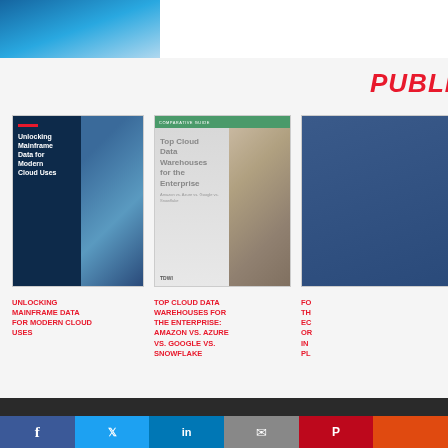[Figure (photo): Top banner photo strip showing a person's hands against a blue background]
PUBLICATIONS
[Figure (photo): Book/report cover: Unlocking Mainframe Data for Modern Cloud Uses]
UNLOCKING MAINFRAME DATA FOR MODERN CLOUD USES
[Figure (photo): Report cover: Top Cloud Data Warehouses for the Enterprise: Amazon vs. Azure vs. Google vs. Snowflake]
TOP CLOUD DATA WAREHOUSES FOR THE ENTERPRISE: AMAZON VS. AZURE VS. GOOGLE VS. SNOWFLAKE
[Figure (photo): Partially visible third publication cover (cut off at right edge)]
FO... TH... EC... OR... IN... PL...
Social media sharing bar with Facebook, Twitter, LinkedIn, Email, Pinterest, and other buttons